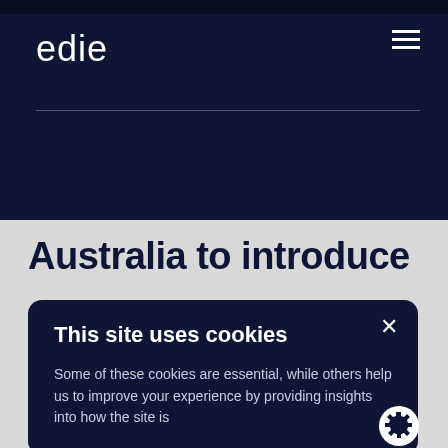edie
Australia to introduce
This site uses cookies
Some of these cookies are essential, while others help us to improve your experience by providing insights into how the site is